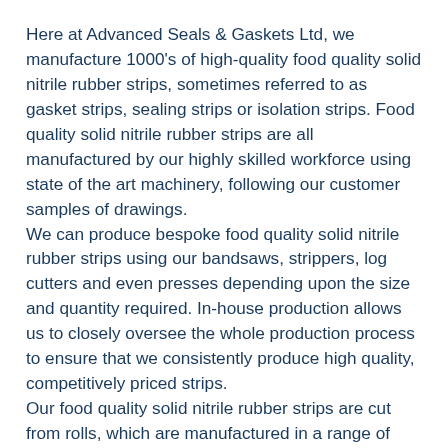Here at Advanced Seals & Gaskets Ltd, we manufacture 1000's of high-quality food quality solid nitrile rubber strips, sometimes referred to as gasket strips, sealing strips or isolation strips. Food quality solid nitrile rubber strips are all manufactured by our highly skilled workforce using state of the art machinery, following our customer samples of drawings.
We can produce bespoke food quality solid nitrile rubber strips using our bandsaws, strippers, log cutters and even presses depending upon the size and quantity required. In-house production allows us to closely oversee the whole production process to ensure that we consistently produce high quality, competitively priced strips.
Our food quality solid nitrile rubber strips are cut from rolls, which are manufactured in a range of standard thicknesses starting at just 1mm, these can be supplied coated with self-adhesive backing or laminated to other materials, which can then be cut into solid nitrile rubber strip in widths starting